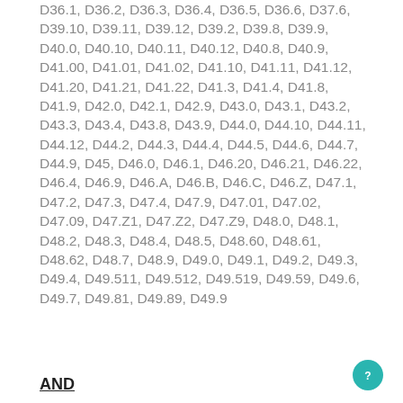D36.1, D36.2, D36.3, D36.4, D36.5, D36.6, D37.6, D39.10, D39.11, D39.12, D39.2, D39.8, D39.9, D40.0, D40.10, D40.11, D40.12, D40.8, D40.9, D41.00, D41.01, D41.02, D41.10, D41.11, D41.12, D41.20, D41.21, D41.22, D41.3, D41.4, D41.8, D41.9, D42.0, D42.1, D42.9, D43.0, D43.1, D43.2, D43.3, D43.4, D43.8, D43.9, D44.0, D44.10, D44.11, D44.12, D44.2, D44.3, D44.4, D44.5, D44.6, D44.7, D44.9, D45, D46.0, D46.1, D46.20, D46.21, D46.22, D46.4, D46.9, D46.A, D46.B, D46.C, D46.Z, D47.1, D47.2, D47.3, D47.4, D47.9, D47.01, D47.02, D47.09, D47.Z1, D47.Z2, D47.Z9, D48.0, D48.1, D48.2, D48.3, D48.4, D48.5, D48.60, D48.61, D48.62, D48.7, D48.9, D49.0, D49.1, D49.2, D49.3, D49.4, D49.511, D49.512, D49.519, D49.59, D49.6, D49.7, D49.81, D49.89, D49.9
AND